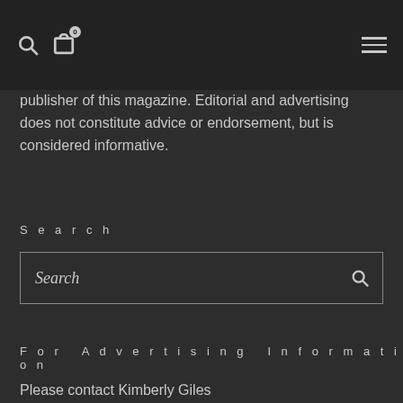Navigation header with search icon, bag icon (0), and hamburger menu
publisher of this magazine. Editorial and advertising does not constitute advice or endorsement, but is considered informative.
Search
Search
For Advertising Information
Please contact Kimberly Giles